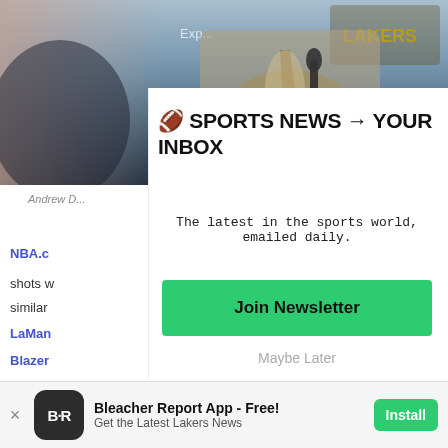[Figure (photo): Photo of a man in a grey suit and tie speaking at a Lakers press conference, with a microphone and Lakers logo visible in background]
Andrew D...
NBA.c...
shots w...
similar...
LaMar...
Blazer...
Booze...
🏈 SPORTS NEWS → YOUR INBOX
The latest in the sports world, emailed daily.
Join Newsletter
Maybe Later
Bleacher Report App - Free!
Get the Latest Lakers News